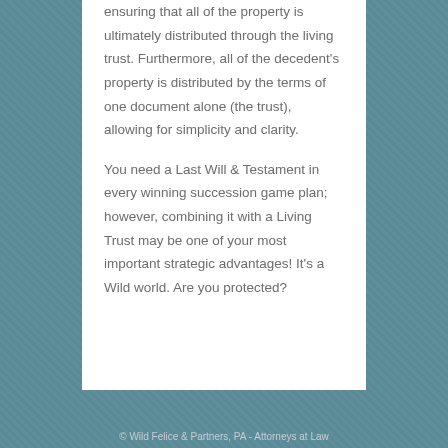ensuring that all of the property is ultimately distributed through the living trust. Furthermore, all of the decedent's property is distributed by the terms of one document alone (the trust), allowing for simplicity and clarity.
You need a Last Will & Testament in every winning succession game plan; however, combining it with a Living Trust may be one of your most important strategic advantages! It's a Wild world. Are you protected?
© Wild Felice & Partners, PA - Attorneys at Law